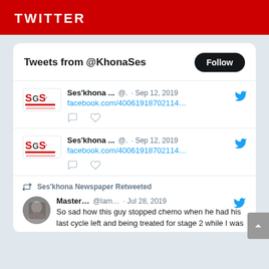TWITTER
Tweets from @KhonaSes
Ses'khona ... @. · Sep 12, 2019
facebook.com/40061918702114...
Ses'khona ... @. · Sep 12, 2019
facebook.com/40061918702114...
Ses'khona Newspaper Retweeted
Master... @Iam... · Jul 28, 2019
So sad how this guy stopped chemo when he had his last cycle left and being treated for stage 2 while I was